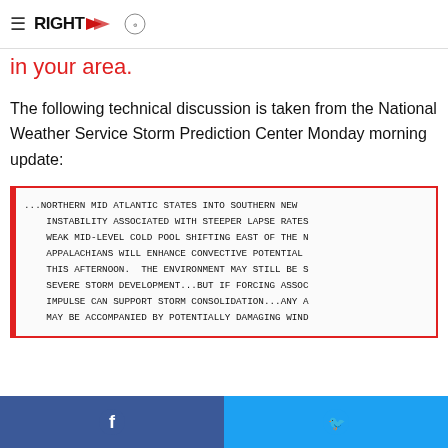RIGHT WEATHER | AMS | ACM logos
in your area.
The following technical discussion is taken from the National Weather Service Storm Prediction Center Monday morning update:
...NORTHERN MID ATLANTIC STATES INTO SOUTHERN NEW INSTABILITY ASSOCIATED WITH STEEPER LAPSE RATES WEAK MID-LEVEL COLD POOL SHIFTING EAST OF THE N APPALACHIANS WILL ENHANCE CONVECTIVE POTENTIAL THIS AFTERNOON.  THE ENVIRONMENT MAY STILL BE S SEVERE STORM DEVELOPMENT...BUT IF FORCING ASSOC IMPULSE CAN SUPPORT STORM CONSOLIDATION...ANY A MAY BE ACCOMPANIED BY POTENTIALLY DAMAGING WIND
Facebook share | Twitter share